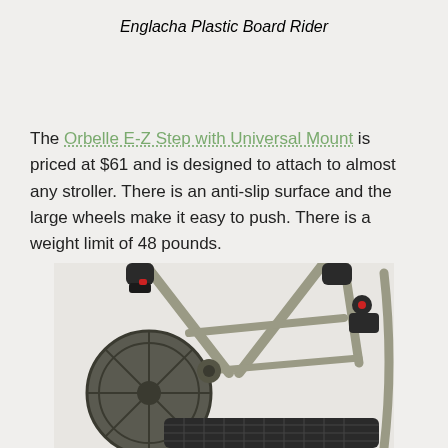Englacha Plastic Board Rider
The Orbelle E-Z Step with Universal Mount is priced at $61 and is designed to attach to almost any stroller. There is an anti-slip surface and the large wheels make it easy to push. There is a weight limit of 48 pounds.
[Figure (photo): Close-up photo of a stroller board rider attachment showing metal frame, large wheel, mounting hardware with red accents, and a black anti-slip platform/footboard at the bottom.]